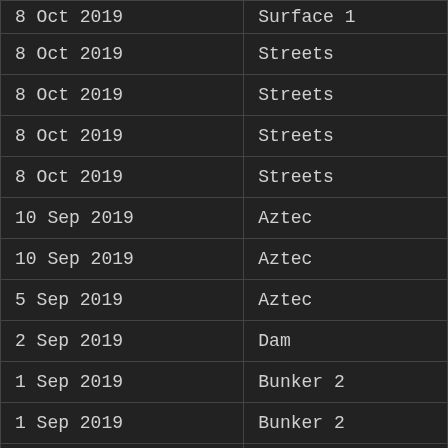| Date | Location |
| --- | --- |
| 8 Oct 2019 | Surface 1 |
| 8 Oct 2019 | Streets |
| 8 Oct 2019 | Streets |
| 8 Oct 2019 | Streets |
| 8 Oct 2019 | Streets |
| 10 Sep 2019 | Aztec |
| 10 Sep 2019 | Aztec |
| 5 Sep 2019 | Aztec |
| 2 Sep 2019 | Dam |
| 1 Sep 2019 | Bunker 2 |
| 1 Sep 2019 | Bunker 2 |
| 1 Sep 2019 | Bunker 2 |
| 1 Sep 2019 | Bunker 2 |
| 31 Aug 2019 | Aztec |
| 31 Aug 2019 | Aztec |
| 28 Aug 2019 | Dam |